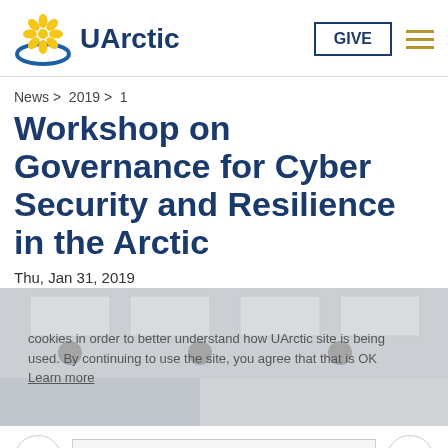UArctic — GIVE [menu]
News > 2019 > 1
Workshop on Governance for Cyber Security and Resilience in the Arctic
Thu, Jan 31, 2019
[Figure (photo): Interior photo of a modern building ceiling with recessed lighting, with a cookie consent overlay reading: 'cookies in order to better understand how UArctic site is being used. By continuing to use the site, you agree that that is OK Learn more']
Got it!